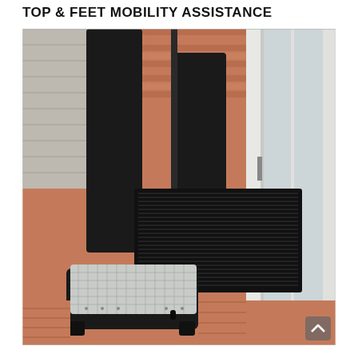TOP & FEET MOBILITY ASSISTANCE
[Figure (photo): Person standing on a black mobility step platform with a cane/pole for support, stepping onto a black rubber mat near a sliding glass door on a wooden deck. The step platform is black with a white/grey textured top surface.]